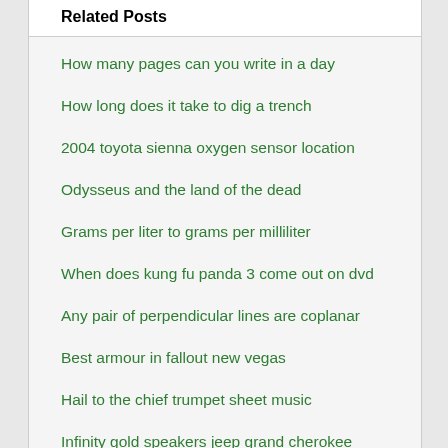Related Posts
How many pages can you write in a day
How long does it take to dig a trench
2004 toyota sienna oxygen sensor location
Odysseus and the land of the dead
Grams per liter to grams per milliliter
When does kung fu panda 3 come out on dvd
Any pair of perpendicular lines are coplanar
Best armour in fallout new vegas
Hail to the chief trumpet sheet music
Infinity gold speakers jeep grand cherokee